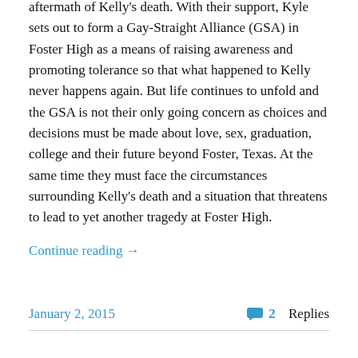Brad and their friends as they continue to deal with the aftermath of Kelly's death. With their support, Kyle sets out to form a Gay-Straight Alliance (GSA) in Foster High as a means of raising awareness and promoting tolerance so that what happened to Kelly never happens again. But life continues to unfold and the GSA is not their only going concern as choices and decisions must be made about love, sex, graduation, college and their future beyond Foster, Texas. At the same time they must face the circumstances surrounding Kelly's death and a situation that threatens to lead to yet another tragedy at Foster High.
Continue reading →
January 2, 2015
2 Replies